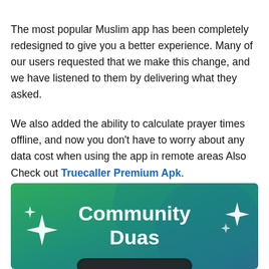The most popular Muslim app has been completely redesigned to give you a better experience. Many of our users requested that we make this change, and we have listened to them by delivering what they asked.
We also added the ability to calculate prayer times offline, and now you don't have to worry about any data cost when using the app in remote areas Also Check out Truecaller Premium Apk.
[Figure (illustration): Green to teal gradient banner image showing the text 'Community Duas' in large white bold font with decorative white four-pointed star/sparkle icons on left and right sides, and a partial phone screen at the bottom.]